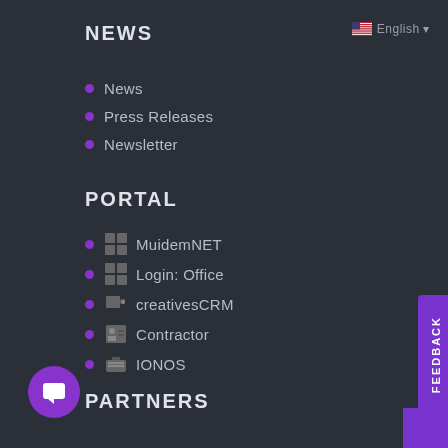NEWS
News
Press Releases
Newsletter
PORTAL
MuidemNET
Login: Office
creativesCRM
Contractor
IONOS
PARTNERS
Supplier Registration
Strategic Partners
IONOS Partner Portal